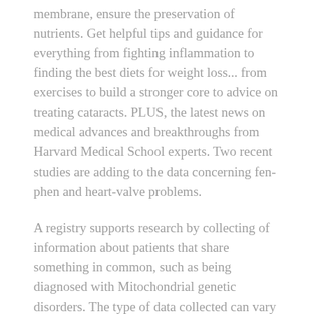membrane, ensure the preservation of nutrients. Get helpful tips and guidance for everything from fighting inflammation to finding the best diets for weight loss... from exercises to build a stronger core to advice on treating cataracts. PLUS, the latest news on medical advances and breakthroughs from Harvard Medical School experts. Two recent studies are adding to the data concerning fen-phen and heart-valve problems.
A registry supports research by collecting of information about patients that share something in common, such as being diagnosed with Mitochondrial genetic disorders. The type of data collected can vary from registry to registry and is based on the goals and purpose of that registry. Some registries collect contact information while others collect more detailed medical information. Genetic metabolic diseases are congenital errors of the body's chemistry that